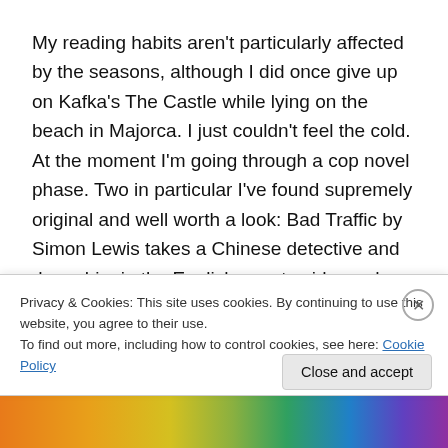My reading habits aren't particularly affected by the seasons, although I did once give up on Kafka's The Castle while lying on the beach in Majorca. I just couldn't feel the cold. At the moment I'm going through a cop novel phase. Two in particular I've found supremely original and well worth a look: Bad Traffic by Simon Lewis takes a Chinese detective and drops him in the English countryside, and Pocket Notebook by Mike Thomas follows a 'roided-up firearms officer as his life and career unravel quite spectacularly. Most cop novels are by whey
Privacy & Cookies: This site uses cookies. By continuing to use this website, you agree to their use.
To find out more, including how to control cookies, see here: Cookie Policy
Close and accept